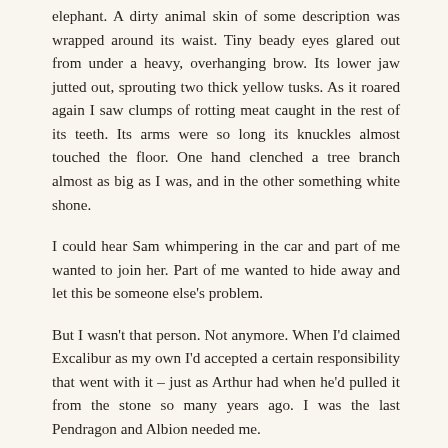elephant. A dirty animal skin of some description was wrapped around its waist. Tiny beady eyes glared out from under a heavy, overhanging brow. Its lower jaw jutted out, sprouting two thick yellow tusks. As it roared again I saw clumps of rotting meat caught in the rest of its teeth. Its arms were so long its knuckles almost touched the floor. One hand clenched a tree branch almost as big as I was, and in the other something white shone.
I could hear Sam whimpering in the car and part of me wanted to join her. Part of me wanted to hide away and let this be someone else's problem.
But I wasn't that person. Not anymore. When I'd claimed Excalibur as my own I'd accepted a certain responsibility that went with it – just as Arthur had when he'd pulled it from the stone so many years ago. I was the last Pendragon and Albion needed me.
I tightened my grip on the hilt and stepped up